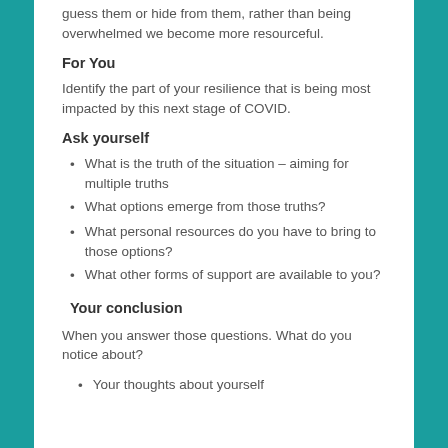guess them or hide from them, rather than being overwhelmed we become more resourceful.
For You
Identify the part of your resilience that is being most impacted by this next stage of COVID.
Ask yourself
What is the truth of the situation – aiming for multiple truths
What options emerge from those truths?
What personal resources do you have to bring to those options?
What other forms of support are available to you?
Your conclusion
When you answer those questions. What do you notice about?
Your thoughts about yourself